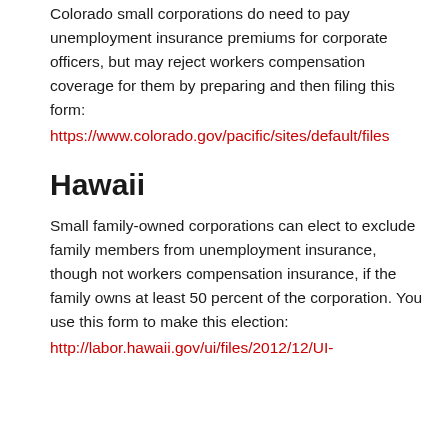Colorado small corporations do need to pay unemployment insurance premiums for corporate officers, but may reject workers compensation coverage for them by preparing and then filing this form:
https://www.colorado.gov/pacific/sites/default/files
Hawaii
Small family-owned corporations can elect to exclude family members from unemployment insurance, though not workers compensation insurance, if the family owns at least 50 percent of the corporation. You use this form to make this election:
http://labor.hawaii.gov/ui/files/2012/12/UI-